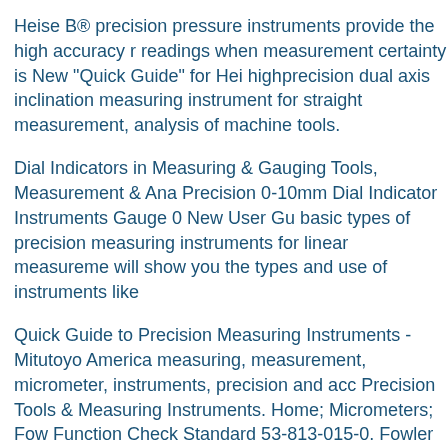Heise B® precision pressure instruments provide the high accuracy r readings when measurement certainty is New "Quick Guide" for Hei highprecision dual axis inclination measuring instrument for straight measurement, analysis of machine tools.
Dial Indicators in Measuring & Gauging Tools, Measurement & Ana Precision 0-10mm Dial Indicator Instruments Gauge 0 New User Gu basic types of precision measuring instruments for linear measureme will show you the types and use of instruments like
Quick Guide to Precision Measuring Instruments - Mitutoyo America measuring, measurement, micrometer, instruments, precision and acc Precision Tools & Measuring Instruments. Home; Micrometers; Fow Function Check Standard 53-813-015-0. Fowler High Precision
Mitutoyo America, largest provider of Mitutoyo precision measuring the highest quality and variety to fit a wide range of Moisture Meter. moisture device gives quick and accurate moisture measurement with measuring instrument comes